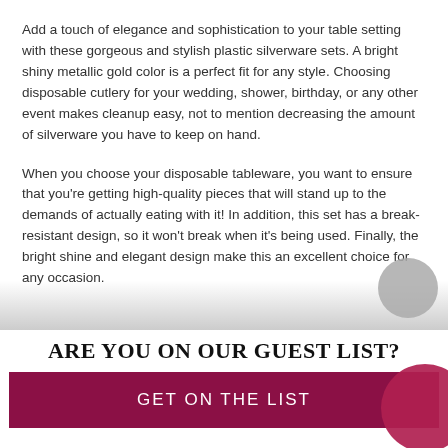Add a touch of elegance and sophistication to your table setting with these gorgeous and stylish plastic silverware sets. A bright shiny metallic gold color is a perfect fit for any style. Choosing disposable cutlery for your wedding, shower, birthday, or any other event makes cleanup easy, not to mention decreasing the amount of silverware you have to keep on hand.

When you choose your disposable tableware, you want to ensure that you're getting high-quality pieces that will stand up to the demands of actually eating with it! In addition, this set has a break-resistant design, so it won't break when it's being used. Finally, the bright shine and elegant design make this an excellent choice for any occasion.
ARE YOU ON OUR GUEST LIST?
GET ON THE LIST